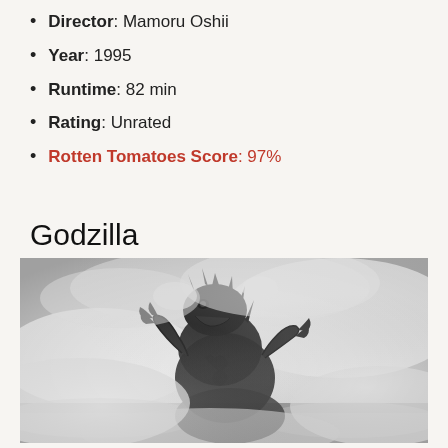Director: Mamoru Oshii
Year: 1995
Runtime: 82 min
Rating: Unrated
Rotten Tomatoes Score: 97%
Godzilla
[Figure (photo): Black and white photograph of the Godzilla monster costume character standing amid mist or smoke, viewed from a slightly low angle showing the creature's upper body and clawed hands raised.]